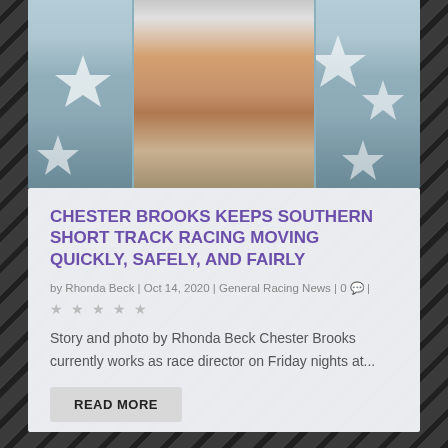[Figure (photo): A person standing in what appears to be a race track official booth or window, with American flag star decorations visible on the structure. The person is wearing a white shirt and tan/khaki shorts.]
CHESTER BROOKS KEEPS SOUTHERN SHORT TRACK RACING MOVING QUICKLY, SAFELY, AND FAIRLY
by Rhonda Beck | Oct 14, 2020 | General Racing News | 0 💬 |
Story and photo by Rhonda Beck Chester Brooks currently works as race director on Friday nights at...
READ MORE